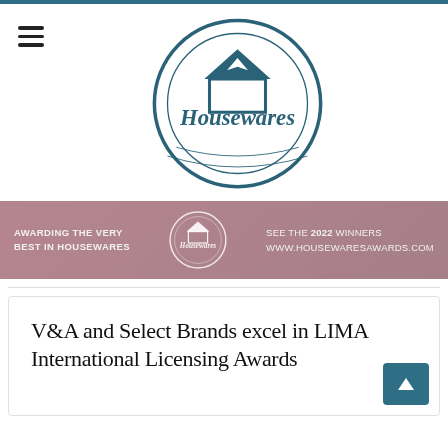[Figure (logo): Housewares logo — circular badge with house roofline icon and script text 'Housewares' in teal/dark teal color]
[Figure (infographic): Banner strip: 'AWARDING THE VERY BEST IN HOUSEWARES' on left, Housewares circular logo in center, 'SEE THE 2022 WINNERS WWW.HOUSEWARESAWARDS.COM' on right, over a muted pink/mauve background]
V&A and Select Brands excel in LIMA International Licensing Awards